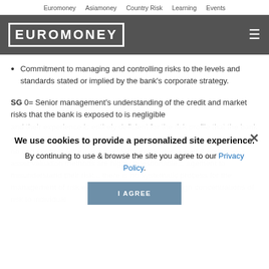Euromoney   Asiamoney   Country Risk   Learning   Events
[Figure (logo): Euromoney logo with white block text on dark grey header bar with hamburger menu icon]
Commitment to managing and controlling risks to the levels and standards stated or implied by the bank's corporate strategy.
SG 0= Senior management's understanding of the credit and market risks that the bank is exposed to is negligible and their experience is entirely deficient for the risk profile that the bank exhibits. Credit-risk control frameworks are completely inadequate, with no and controls for e... /counterparty exposures. Level-2 and level-3 asset valuation methods are highly questionable... agement to misunderstand their risk... there is no systematic process for the management of risk exposures, often leading to high concentrations of risk to individual
We use cookies to provide a personalized site experience.
By continuing to use & browse the site you agree to our Privacy Policy.
I AGREE